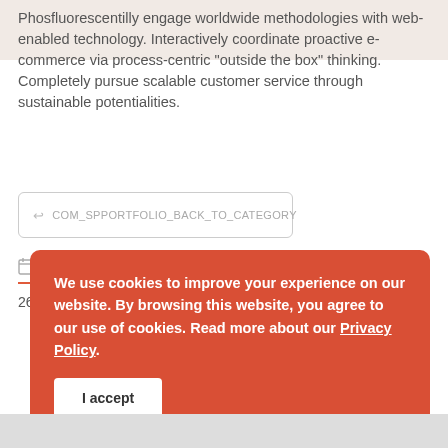Phosfluorescentilly engage worldwide methodologies with web-enabled technology. Interactively coordinate proactive e-commerce via process-centric "outside the box" thinking. Completely pursue scalable customer service through sustainable potentialities.
COM_SPPORTFOLIO_BACK_TO_CATEGORY
Date
26 Novembre 2015
[Figure (illustration): Concentric circles graphic outline, decorative element]
We use cookies to improve your experience on our website. By browsing this website, you agree to our use of cookies. Read more about our Privacy Policy.
I accept